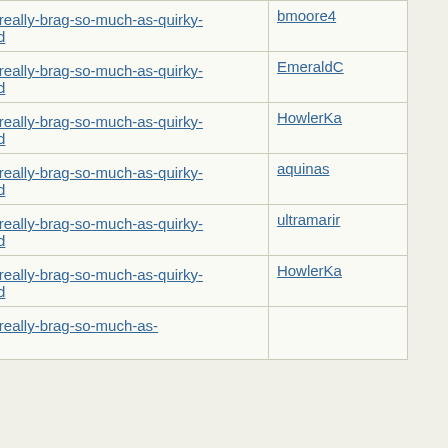| Subject | Author |
| --- | --- |
| Re: Not-really-brag-so-much-as-quirky-anecdote thread | bmoore4 |
| Re: Not-really-brag-so-much-as-quirky-anecdote thread | EmeraldC |
| Re: Not-really-brag-so-much-as-quirky-anecdote thread | HowlerKa |
| Re: Not-really-brag-so-much-as-quirky-anecdote thread | aquinas |
| Re: Not-really-brag-so-much-as-quirky-anecdote thread | ultramarir |
| Re: Not-really-brag-so-much-as-quirky-anecdote thread | HowlerKa |
| Re: Not-really-brag-so-much-as-quirky-anecdote thread |  |